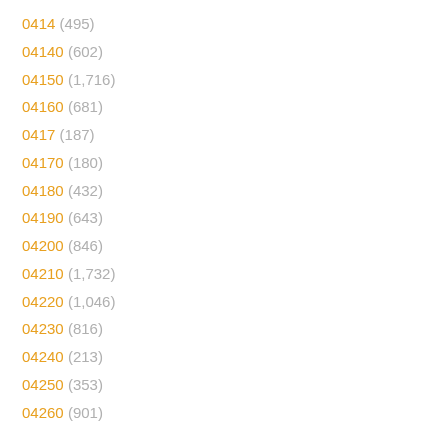0414 (495)
04140 (602)
04150 (1,716)
04160 (681)
0417 (187)
04170 (180)
04180 (432)
04190 (643)
04200 (846)
04210 (1,732)
04220 (1,046)
04230 (816)
04240 (213)
04250 (353)
04260 (901)